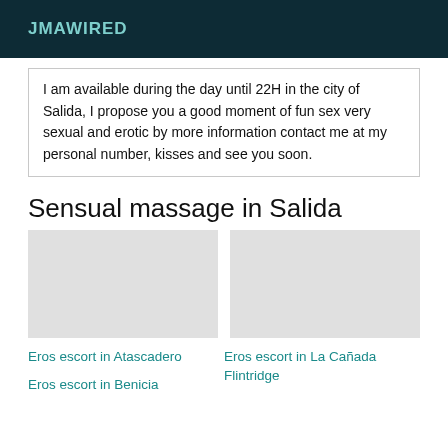JMAWIRED
I am available during the day until 22H in the city of Salida, I propose you a good moment of fun sex very sexual and erotic by more information contact me at my personal number, kisses and see you soon.
Sensual massage in Salida
[Figure (photo): Two placeholder image boxes side by side]
Eros escort in Atascadero
Eros escort in Benicia
Eros escort in La Cañada Flintridge
Eros escort in [partially visible]